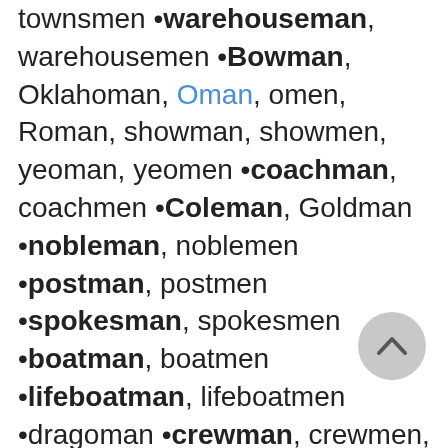townsmen •warehouseman, warehousemen •Bowman, Oklahoman, Oman, omen, Roman, showman, showmen, yeoman, yeomen •coachman, coachmen •Coleman, Goldman •nobleman, noblemen •postman, postmen •spokesman, spokesmen •boatman, boatmen •lifeboatman, lifeboatmen •dragoman •crewman, crewmen, energumen, human, ichneumon, Newman, numen, Schumann, subhuman, Trueman •woman
[Figure (other): A circular grey scroll-to-top button with an upward-pointing chevron icon]